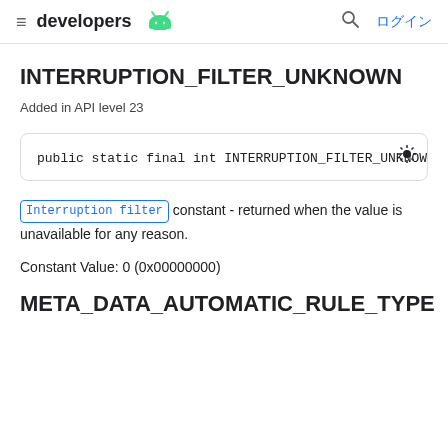≡ developers [android logo] 🔍 ログイン
INTERRUPTION_FILTER_UNKNOWN
Added in API level 23
public static final int INTERRUPTION_FILTER_UNKNOWN
Interruption filter constant - returned when the value is unavailable for any reason.
Constant Value: 0 (0x00000000)
META_DATA_AUTOMATIC_RULE_TYPE